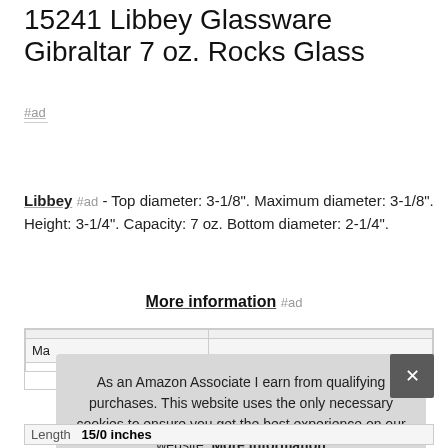15241 Libbey Glassware Gibraltar 7 oz. Rocks Glass
#ad
Libbey #ad - Top diameter: 3-1/8". Maximum diameter: 3-1/8". Height: 3-1/4". Capacity: 7 oz. Bottom diameter: 2-1/4".
More information #ad
|  |  |
| --- | --- |
| Ma |  |
|  |  |
| Length | 1.5/0 inches |
As an Amazon Associate I earn from qualifying purchases. This website uses the only necessary cookies to ensure you get the best experience on our website. More information